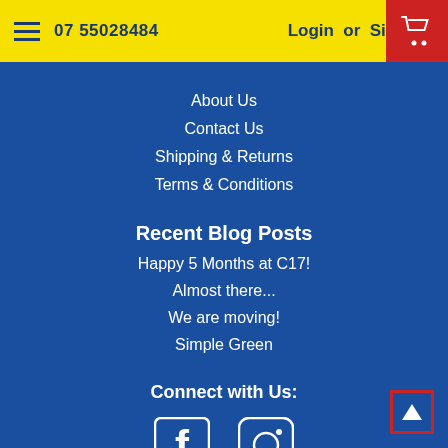07 55028484  Login or Sign Up
About Us
Contact Us
Shipping & Returns
Terms & Conditions
Recent Blog Posts
Happy 5 Months at C17!
Almost there...
We are moving!
Simple Green
Connect with Us:
[Figure (illustration): Facebook and Instagram social media icons in white]